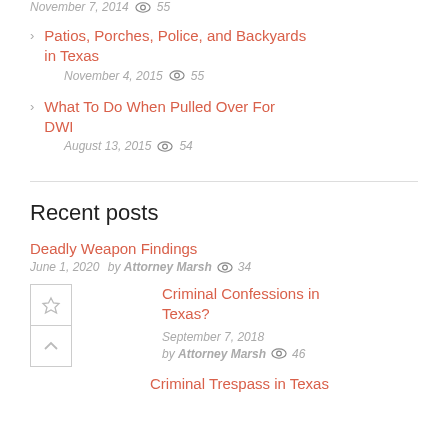November 7, 2014  👁 55
Patios, Porches, Police, and Backyards in Texas
November 4, 2015  55
What To Do When Pulled Over For DWI
August 13, 2015  54
Recent posts
Deadly Weapon Findings
June 1, 2020  by Attorney Marsh  34
Criminal Confessions in Texas?
September 7, 2018
by Attorney Marsh  46
Criminal Trespass in Texas